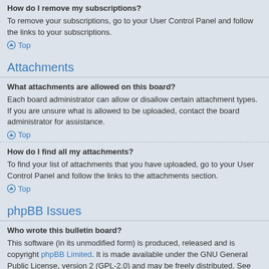How do I remove my subscriptions?
To remove your subscriptions, go to your User Control Panel and follow the links to your subscriptions.
Top
Attachments
What attachments are allowed on this board?
Each board administrator can allow or disallow certain attachment types. If you are unsure what is allowed to be uploaded, contact the board administrator for assistance.
Top
How do I find all my attachments?
To find your list of attachments that you have uploaded, go to your User Control Panel and follow the links to the attachments section.
Top
phpBB Issues
Who wrote this bulletin board?
This software (in its unmodified form) is produced, released and is copyright phpBB Limited. It is made available under the GNU General Public License, version 2 (GPL-2.0) and may be freely distributed. See About phpBB for more details.